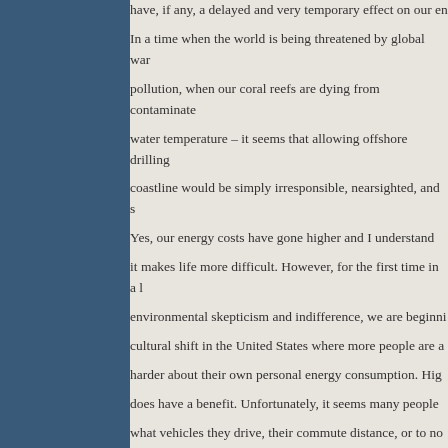have, if any, a delayed and very temporary effect on our energy costs. In a time when the world is being threatened by global warming, air pollution, when our coral reefs are dying from contaminated and rising water temperature – it seems that allowing offshore drilling along our coastline would be simply irresponsible, nearsighted, and short-sighted. Yes, our energy costs have gone higher and I understand how difficult it makes life more difficult. However, for the first time in a long era of environmental skepticism and indifference, we are beginning to see a cultural shift in the United States where more people are actually thinking harder about their own personal energy consumption. High energy costs does have a benefit. Unfortunately, it seems many people don't think about what vehicles they drive, their commute distance, or to not leave their automobiles idling for 15 minutes at a time unless it hits their wallet. Corporations have no problem shipping items and food across the country (or from Mexico and Canada), even when goods can be produced locally, until it affects the quarterly balance sheet. The real US Energy crisis is not a current low supply of oil. It is the belief that energy supply should be cheap, unlimited and constant and that we deserve such a supply no matter what consequences it may have to our country or the rest of the world. Offshore drilling